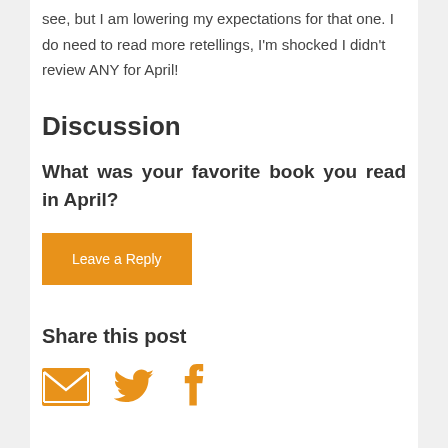see, but I am lowering my expectations for that one. I do need to read more retellings, I'm shocked I didn't review ANY for April!
Discussion
What was your favorite book you read in April?
Leave a Reply
Share this post
[Figure (infographic): Three social media icons in orange: envelope (email), Twitter bird, and Facebook 'f' logo]